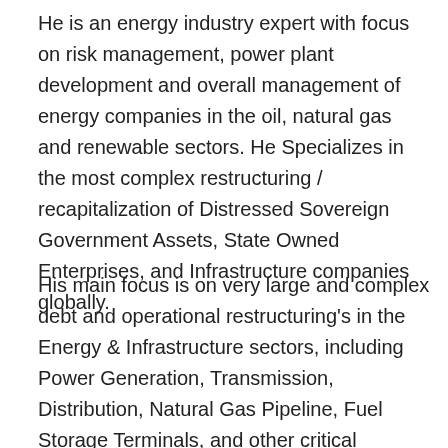He is an energy industry expert with focus on risk management, power plant development and overall management of energy companies in the oil, natural gas and renewable sectors. He Specializes in the most complex restructuring / recapitalization of Distressed Sovereign Government Assets, State Owned Enterprises, and Infrastructure companies globally.
His main focus is on very large and complex debt and operational restructuring's in the Energy & Infrastructure sectors, including Power Generation, Transmission, Distribution, Natural Gas Pipeline, Fuel Storage Terminals, and other critical infrastructure assets. To include restructuring all Governmental,